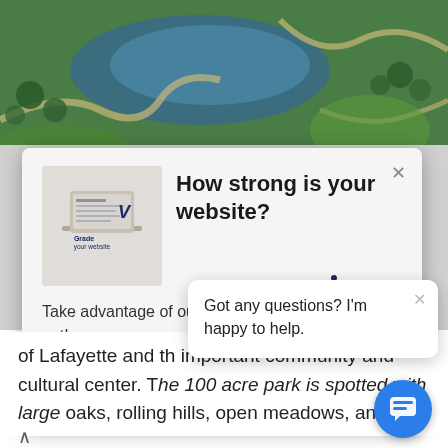[Figure (photo): Aerial view of a park with a lake, winding paths, trees, and green open spaces]
How strong is your website?
Take advantage of our free website grader to find out!
Free W
of Lafayette and th important community and cultural center. The 100 acre park is spotted with large oaks, rolling hills, open meadows, and
Got any questions? I'm happy to help.